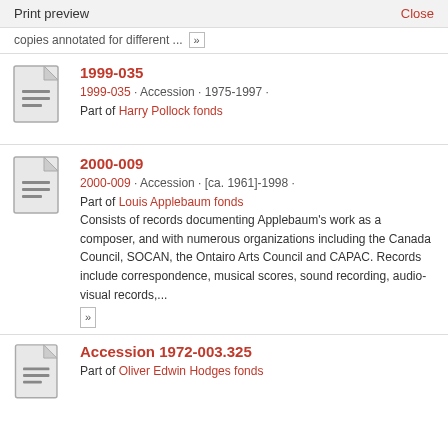Print preview   Close
copies annotated for different ... »
1999-035
1999-035 · Accession · 1975-1997 · Part of Harry Pollock fonds
2000-009
2000-009 · Accession · [ca. 1961]-1998 · Part of Louis Applebaum fonds
Consists of records documenting Applebaum's work as a composer, and with numerous organizations including the Canada Council, SOCAN, the Ontairo Arts Council and CAPAC. Records include correspondence, musical scores, sound recording, audio-visual records,...
Accession 1972-003.325
Part of Oliver Edwin Hodges fonds